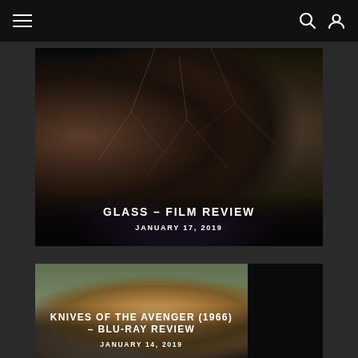Navigation bar with hamburger menu, search icon, user icon
[Figure (photo): Movie poster/promotional image for Glass (2019) showing three stern-faced men against a cracked glass background. Text overlay: GLASS – FILM REVIEW / JANUARY 17, 2019]
GLASS – FILM REVIEW
JANUARY 17, 2019
[Figure (photo): Movie promotional image for Knives of the Avenger (1966) showing a blonde man against rocky terrain. Text overlay: KNIVES OF THE AVENGER (1966) – BLU-RAY REVIEW / JANUARY 14, 2019]
KNIVES OF THE AVENGER (1966) – BLU-RAY REVIEW
JANUARY 14, 2019